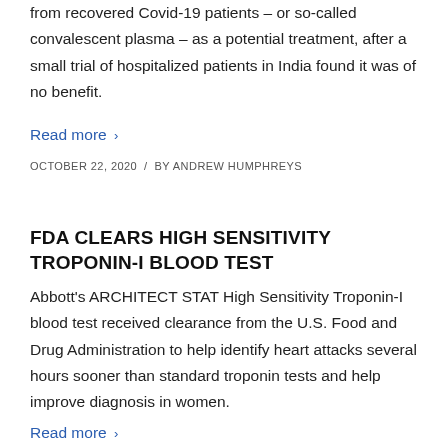from recovered Covid-19 patients – or so-called convalescent plasma – as a potential treatment, after a small trial of hospitalized patients in India found it was of no benefit.
Read more >
OCTOBER 22, 2020 / BY ANDREW HUMPHREYS
FDA CLEARS HIGH SENSITIVITY TROPONIN-I BLOOD TEST
Abbott's ARCHITECT STAT High Sensitivity Troponin-I blood test received clearance from the U.S. Food and Drug Administration to help identify heart attacks several hours sooner than standard troponin tests and help improve diagnosis in women.
Read more >